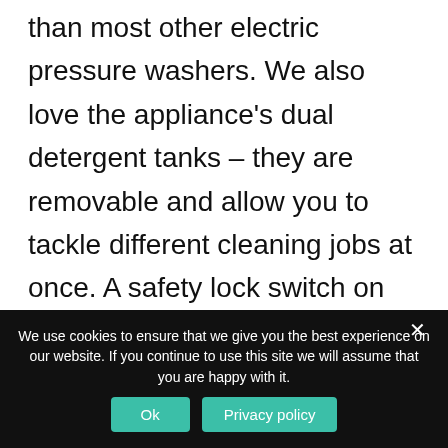than most other electric pressure washers. We also love the appliance's dual detergent tanks – they are removable and allow you to tackle different cleaning jobs at once. A safety lock switch on this washer automatically turns off the pump whenever the trigger is inactive. This not only saves energy but also extends the pump's longevity.
We use cookies to ensure that we give you the best experience on our website. If you continue to use this site we will assume that you are happy with it.